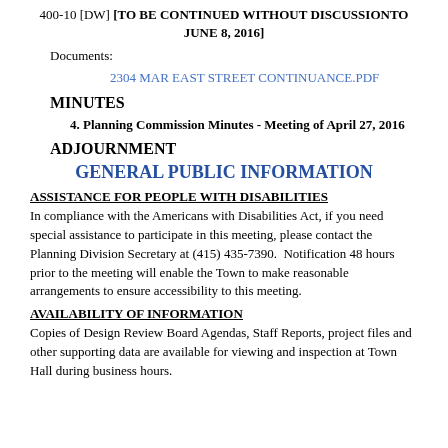400-10 [DW] [TO BE CONTINUED WITHOUT DISCUSSIONTO JUNE 8, 2016]
Documents:
2304 MAR EAST STREET CONTINUANCE.PDF
MINUTES
4. Planning Commission Minutes - Meeting of April 27, 2016
ADJOURNMENT
GENERAL PUBLIC INFORMATION
ASSISTANCE FOR PEOPLE WITH DISABILITIES
In compliance with the Americans with Disabilities Act, if you need special assistance to participate in this meeting, please contact the Planning Division Secretary at (415) 435-7390.  Notification 48 hours prior to the meeting will enable the Town to make reasonable arrangements to ensure accessibility to this meeting.
AVAILABILITY OF INFORMATION
Copies of Design Review Board Agendas, Staff Reports, project files and other supporting data are available for viewing and inspection at Town Hall during business hours.